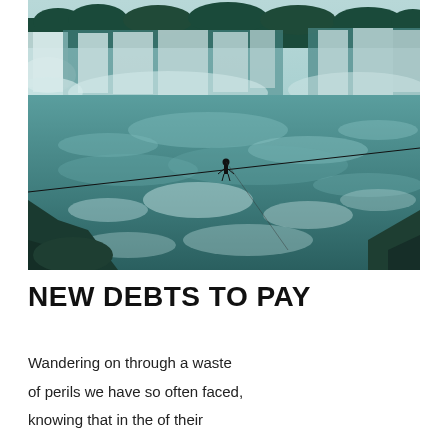[Figure (photo): Vintage teal-toned photograph of Niagara Falls. A tightrope walker is visible on a wire stretched across the churning river in the foreground, with the massive horseshoe and American falls cascading in the background, trees lining the horizon.]
NEW DEBTS TO PAY
Wandering on through a waste
of perils we have so often faced,
knowing that in the of their...